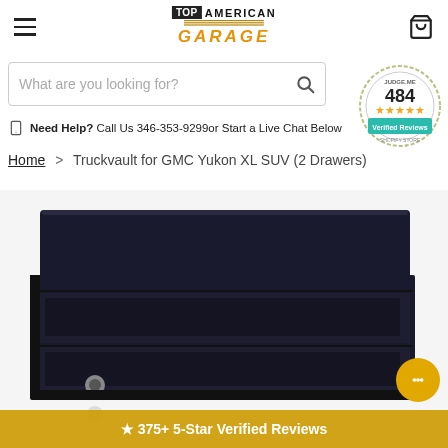[Figure (logo): Top American Garage logo with hamburger menu and cart icon]
[Figure (other): Judge.me 484 verified reviews badge with 5-star rating]
What are you looking for? (search bar)
Need Help? Call Us 346-353-9299or Start a Live Chat Below
Home > Truckvault for GMC Yukon XL SUV (2 Drawers)
[Figure (photo): Black Truckvault drawer unit for GMC Yukon XL SUV]
★ 375+ 5-Star Verified Reviews